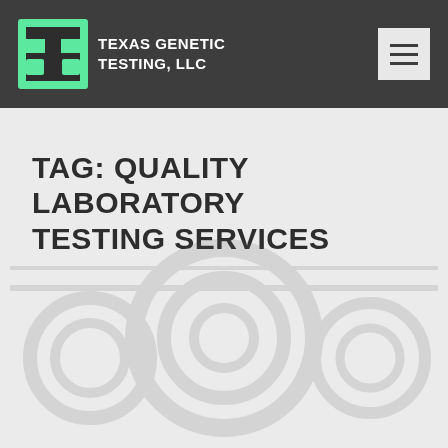TEXAS GENETIC TESTING, LLC
TAG: QUALITY LABORATORY TESTING SERVICES
[Figure (photo): Faded background image of laboratory/scientific equipment or scene, very low opacity watermark-style image in the lower portion of the page content area]